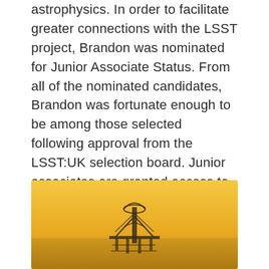astrophysics. In order to facilitate greater connections with the LSST project, Brandon was nominated for Junior Associate Status. From all of the nominated candidates, Brandon was fortunate enough to be among those selected following approval from the LSST:UK selection board. Junior associates are granted access to an additional pot of STFC funding, as well as greater inclusion in the LSST project. In Brandon's case it is hoped that the additional funding will enable a brief placement in Princeton working closely with the core team in charge of LSST.
[Figure (photo): A warm golden-toned photograph of what appears to be a telescope or observatory structure silhouetted against a sunset sky over water.]